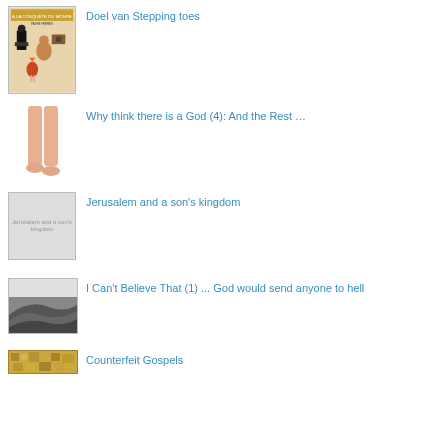Doel van Stepping toes
Why think there is a God (4): And the Rest …
Jerusalem and a son's kingdom
I Can't Believe That (1) ... God would send anyone to hell
Counterfeit Gospels